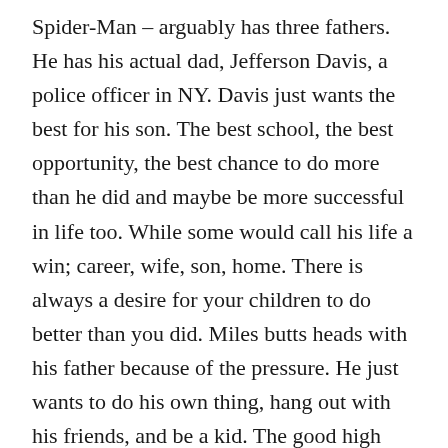Spider-Man – arguably has three fathers. He has his actual dad, Jefferson Davis, a police officer in NY. Davis just wants the best for his son. The best school, the best opportunity, the best chance to do more than he did and maybe be more successful in life too. While some would call his life a win; career, wife, son, home. There is always a desire for your children to do better than you did. Miles butts heads with his father because of the pressure. He just wants to do his own thing, hang out with his friends, and be a kid. The good high school to get into a good college to get a good job seems too far away to conceive. All he can see is the now, and in the now his dad is on